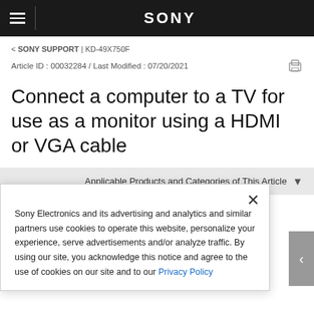SONY
< SONY SUPPORT | KD-49X750F
Article ID : 00032284 / Last Modified : 07/20/2021
Connect a computer to a TV for use as a monitor using a HDMI or VGA cable
Applicable Products and Categories of This Article
Sony Electronics and its advertising and analytics and similar partners use cookies to operate this website, personalize your experience, serve advertisements and/or analyze traffic. By using our site, you acknowledge this notice and agree to the use of cookies on our site and to our Privacy Policy